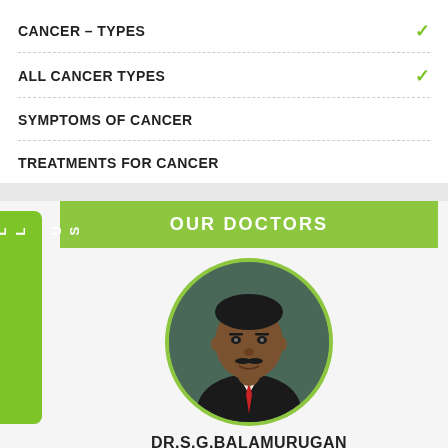CANCER – TYPES
ALL CANCER TYPES
SYMPTOMS OF CANCER
TREATMENTS FOR CANCER
OUR DOCTORS
[Figure (photo): Circular portrait photo of Dr. S.G. Balamurugan, a man in a dark suit with a red tie, against a dark background]
DR.S.G.BALAMURUGAN
M.S, M.Ch (Surg.Onco)